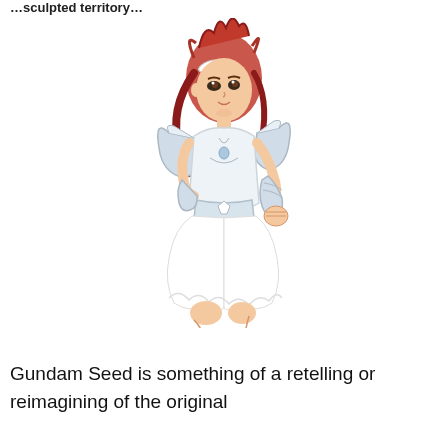…sculpted territory…
[Figure (illustration): Anime-style illustration of a female character with red hair wearing white armor with large shoulder pauldrons, a white skirt, and arm guards, in a fighting stance]
Gundam Seed is something of a retelling or reimagining of the original